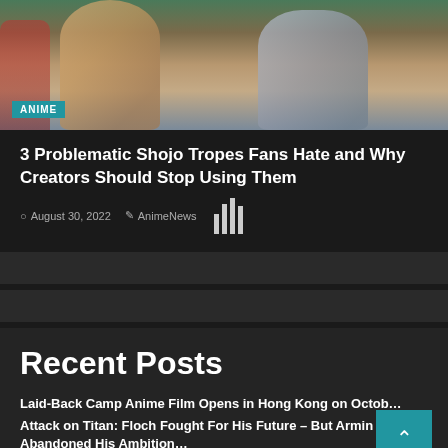[Figure (illustration): Anime illustration showing characters in school uniforms with an 'ANIME' category badge overlay]
3 Problematic Shojo Tropes Fans Hate and Why Creators Should Stop Using Them
August 30, 2022  AnimeNews
Recent Posts
Laid-Back Camp Anime Film Opens in Hong Kong on Octob…
Attack on Titan: Floch Fought For His Future – But Armin Abandoned His Ambition…